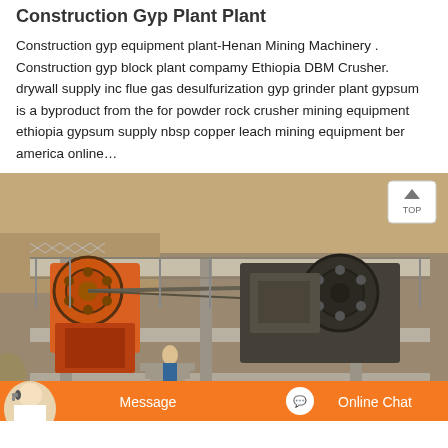Construction Gyp Plant Plant
Construction gyp equipment plant-Henan Mining Machinery . Construction gyp block plant compamy Ethiopia DBM Crusher. drywall supply inc flue gas desulfurization gyp grinder plant gypsum is a byproduct from the for powder rock crusher mining equipment ethiopia gypsum supply nbsp copper leach mining equipment ber america online…
[Figure (photo): Industrial mining/crushing plant with large orange jaw crusher and heavy machinery on a multi-level concrete and metal platform structure, outdoors with rocky terrain visible.]